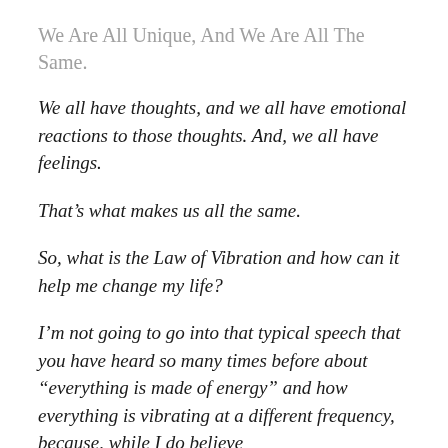We Are All Unique, And We Are All The Same.
We all have thoughts, and we all have emotional reactions to those thoughts. And, we all have feelings.
That’s what makes us all the same.
So, what is the Law of Vibration and how can it help me change my life?
I’m not going to go into that typical speech that you have heard so many times before about “everything is made of energy” and how everything is vibrating at a different frequency, because, while I do believe